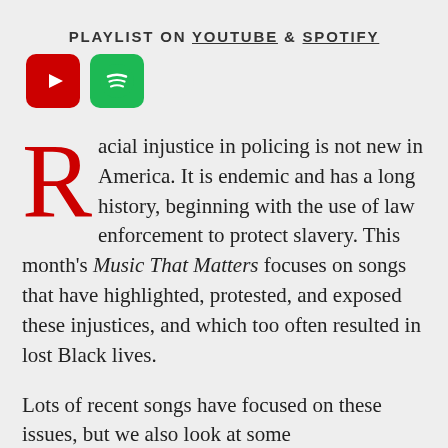PLAYLIST ON YOUTUBE & SPOTIFY
[Figure (other): YouTube (red rounded square) and Spotify (green rounded square) icon buttons]
Racial injustice in policing is not new in America. It is endemic and has a long history, beginning with the use of law enforcement to protect slavery. This month's Music That Matters focuses on songs that have highlighted, protested, and exposed these injustices, and which too often resulted in lost Black lives.
Lots of recent songs have focused on these issues, but we also look at some